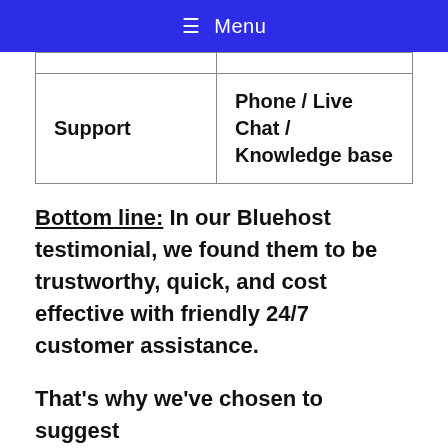≡ Menu
| Support | Phone / Live Chat / Knowledge base |
Bottom line: In our Bluehost testimonial, we found them to be trustworthy, quick, and cost effective with friendly 24/7 customer assistance.
That's why we've chosen to suggest